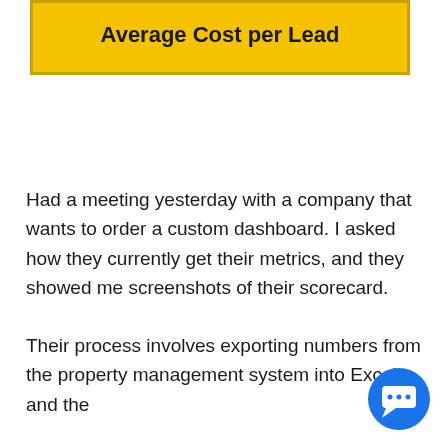[Figure (infographic): Yellow box with bold text reading 'Average Cost per Lead' (partial — top of box cut off showing the end of a longer title)]
Had a meeting yesterday with a company that wants to order a custom dashboard. I asked how they currently get their metrics, and they showed me screenshots of their scorecard.
Their process involves exporting numbers from the property management system into Excel and the